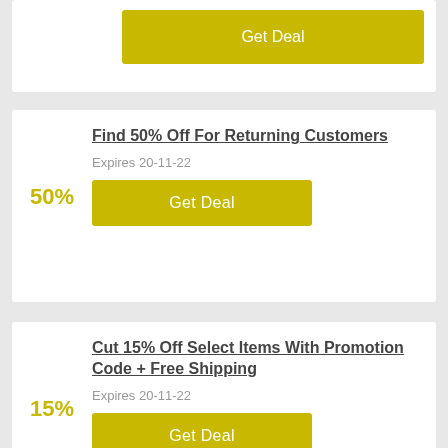Get Deal
Find 50% Off For Returning Customers
50%
Expires 20-11-22
Get Deal
Cut 15% Off Select Items With Promotion Code + Free Shipping
15%
Expires 20-11-22
Get Deal